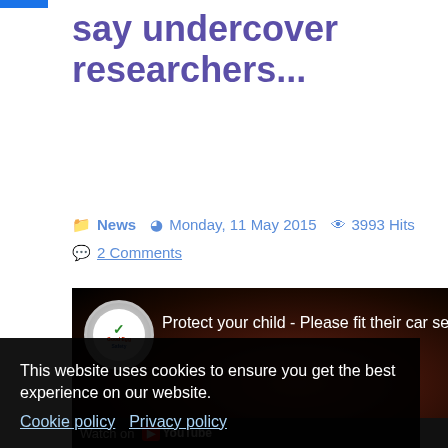say undercover researchers...
News  Monday, 11 May 2015  3993 Hits  2 Comments
[Figure (screenshot): YouTube video thumbnail showing 'Protect your child - Please fit their car seat co...' with a channel logo (Good Egg Safety) and a dark reddish background image]
This website uses cookies to ensure you get the best experience on our website. Cookie policy  Privacy policy
Decline   Allow cookies